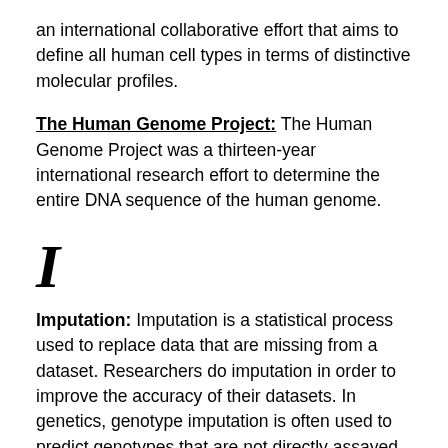an international collaborative effort that aims to define all human cell types in terms of distinctive molecular profiles.
The Human Genome Project: The Human Genome Project was a thirteen-year international research effort to determine the entire DNA sequence of the human genome.
I
Imputation: Imputation is a statistical process used to replace data that are missing from a dataset. Researchers do imputation in order to improve the accuracy of their datasets. In genetics, genotype imputation is often used to predict genotypes that are not directly assayed in a sample.